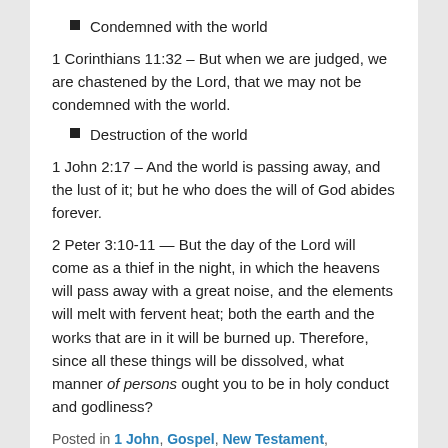Condemned with the world
1 Corinthians 11:32 – But when we are judged, we are chastened by the Lord, that we may not be condemned with the world.
Destruction of the world
1 John 2:17 – And the world is passing away, and the lust of it; but he who does the will of God abides forever.
2 Peter 3:10-11 — But the day of the Lord will come as a thief in the night, in which the heavens will pass away with a great noise, and the elements will melt with fervent heat; both the earth and the works that are in it will be burned up. Therefore, since all these things will be dissolved, what manner of persons ought you to be in holy conduct and godliness?
Posted in 1 John, Gospel, New Testament, Uncategorized |